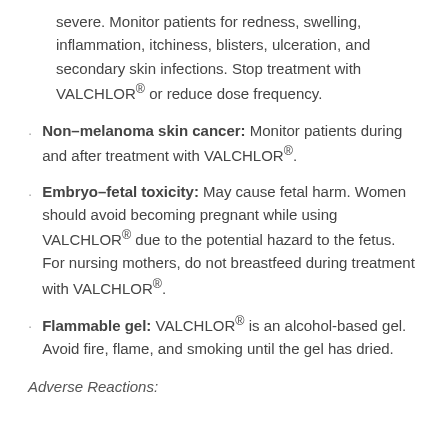severe. Monitor patients for redness, swelling, inflammation, itchiness, blisters, ulceration, and secondary skin infections. Stop treatment with VALCHLOR® or reduce dose frequency.
Non–melanoma skin cancer: Monitor patients during and after treatment with VALCHLOR®.
Embryo–fetal toxicity: May cause fetal harm. Women should avoid becoming pregnant while using VALCHLOR® due to the potential hazard to the fetus. For nursing mothers, do not breastfeed during treatment with VALCHLOR®.
Flammable gel: VALCHLOR® is an alcohol-based gel. Avoid fire, flame, and smoking until the gel has dried.
Adverse Reactions: